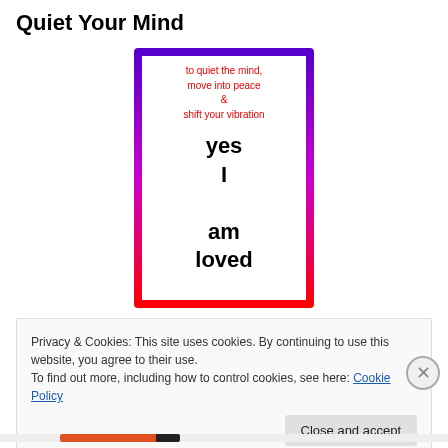Quiet Your Mind
[Figure (illustration): A decorative card with a purple-to-red gradient border on a white interior. Top text in red cursive reads: 'to quiet the mind, move into peace & shift your vibration'. Below in large black bold text: 'yes I am loved'.]
Privacy & Cookies: This site uses cookies. By continuing to use this website, you agree to their use.
To find out more, including how to control cookies, see here: Cookie Policy
Close and accept